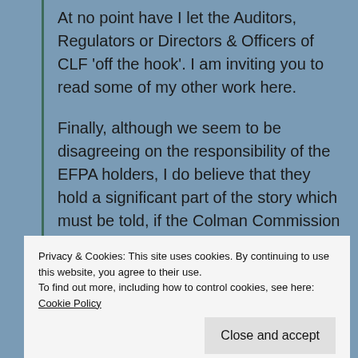At no point have I let the Auditors, Regulators or Directors & Officers of CLF 'off the hook'. I am inviting you to read some of my other work here.
Finally, although we seem to be disagreeing on the responsibility of the EFPA holders, I do believe that they hold a significant part of the story which must be told, if the Colman Commission is to get at the truth of this matter.
Privacy & Cookies: This site uses cookies. By continuing to use this website, you agree to their use.
To find out more, including how to control cookies, see here: Cookie Policy
Close and accept
Afra